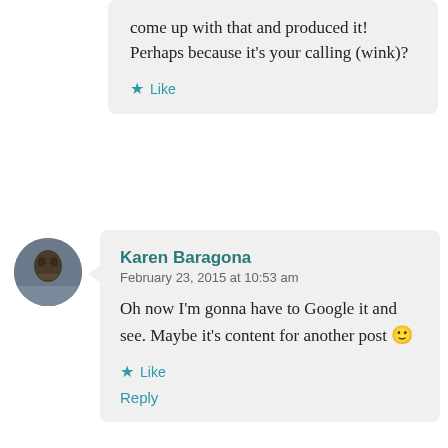come up with that and produced it! Perhaps because it's your calling (wink)?
★ Like
Karen Baragona
February 23, 2015 at 10:53 am
Oh now I'm gonna have to Google it and see. Maybe it's content for another post 🙂
★ Like
Reply